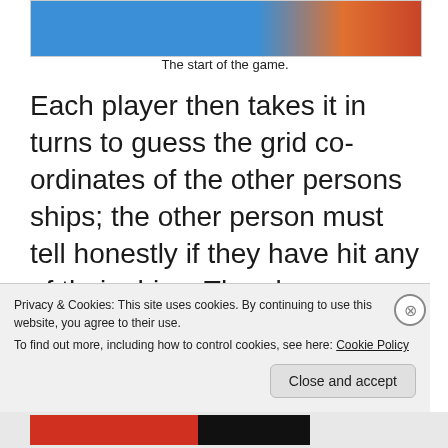[Figure (photo): Top portion of a Battleship board game image, partially visible at the top of the page.]
The start of the game.
Each player then takes it in turns to guess the grid co-ordinates of the other persons ships; the other person must tell honestly if they have hit any of their ships. The player making the guess then records hits and misses on the grid that they have not placed their ships on so they can remember what they have and haven't guessed. The other player also records where that player's
Privacy & Cookies: This site uses cookies. By continuing to use this website, you agree to their use.
To find out more, including how to control cookies, see here: Cookie Policy
Close and accept